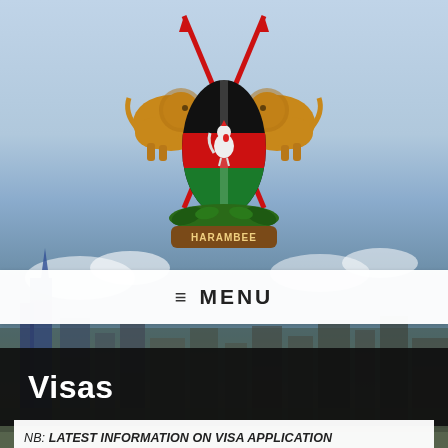[Figure (logo): Kenya coat of arms: two golden lions holding spears flanking a Maasai shield with Kenyan flag colors (black, red, green), a rooster on the shield, and 'HARAMBEE' banner below]
≡ MENU
Visas
NB: LATEST INFORMATION ON VISA APPLICATION